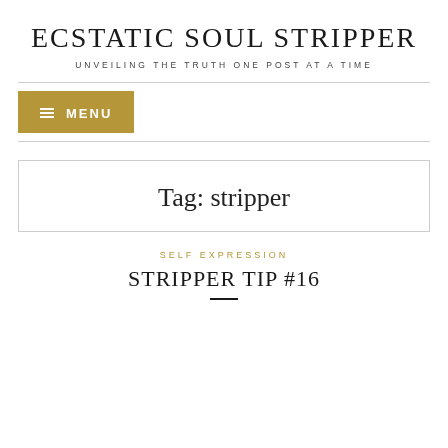ECSTATIC SOUL STRIPPER
UNVEILING THE TRUTH ONE POST AT A TIME
≡ MENU
Tag: stripper
SELF EXPRESSION
STRIPPER TIP #16